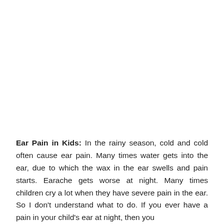Ear Pain in Kids: In the rainy season, cold and cold often cause ear pain. Many times water gets into the ear, due to which the wax in the ear swells and pain starts. Earache gets worse at night. Many times children cry a lot when they have severe pain in the ear. So I don't understand what to do. If you ever have a pain in your child's ear at night, then you